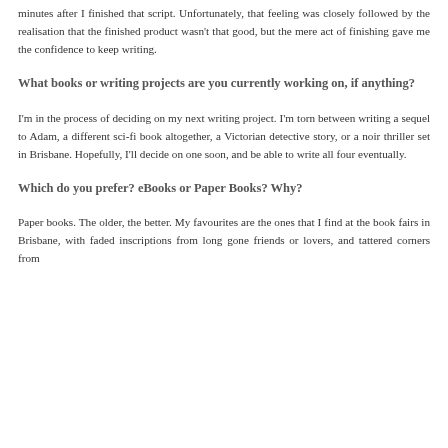minutes after I finished that script. Unfortunately, that feeling was closely followed by the realisation that the finished product wasn't that good, but the mere act of finishing gave me the confidence to keep writing.
What books or writing projects are you currently working on, if anything?
I'm in the process of deciding on my next writing project. I'm torn between writing a sequel to Adam, a different sci-fi book altogether, a Victorian detective story, or a noir thriller set in Brisbane. Hopefully, I'll decide on one soon, and be able to write all four eventually.
Which do you prefer? eBooks or Paper Books? Why?
Paper books. The older, the better. My favourites are the ones that I find at the book fairs in Brisbane, with faded inscriptions from long gone friends or lovers, and tattered corners from